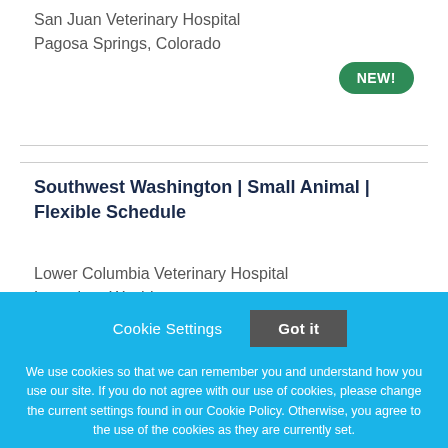San Juan Veterinary Hospital
Pagosa Springs, Colorado
NEW!
Southwest Washington | Small Animal | Flexible Schedule
Lower Columbia Veterinary Hospital
Longview, Washington
Cookie Settings
Got it
We use cookies so that we can remember you and understand how you use our site. If you do not agree with our use of cookies, please change the current settings found in our Cookie Policy. Otherwise, you agree to the use of the cookies as they are currently set.